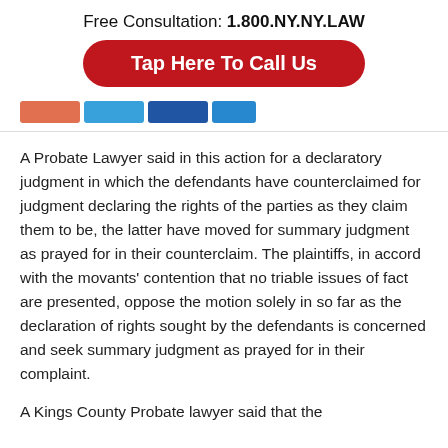Free Consultation: 1.800.NY.NY.LAW
[Figure (infographic): Red call-to-action button reading 'Tap Here To Call Us']
[Figure (infographic): Row of social media share buttons in orange, blue, dark blue, and blue colors]
A Probate Lawyer said in this action for a declaratory judgment in which the defendants have counterclaimed for judgment declaring the rights of the parties as they claim them to be, the latter have moved for summary judgment as prayed for in their counterclaim. The plaintiffs, in accord with the movants' contention that no triable issues of fact are presented, oppose the motion solely in so far as the declaration of rights sought by the defendants is concerned and seek summary judgment as prayed for in their complaint.
A Kings County Probate lawyer said that the